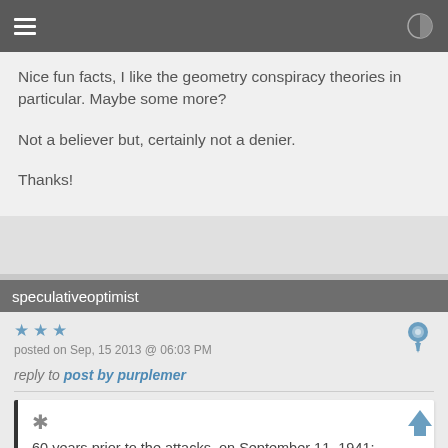Navigation bar with hamburger menu and contrast icon
Nice fun facts, I like the geometry conspiracy theories in particular. Maybe some more?

Not a believer but, certainly not a denier.

Thanks!
speculativeoptimist
posted on Sep, 15 2013 @ 06:03 PM
reply to post by purplemer
60 years prior to the attacks, on September 11, 1941; construction began on the Pentagon